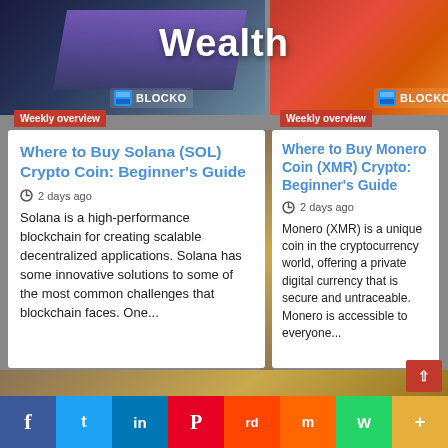Wealth
[Figure (screenshot): Left article card banner with dark blue/purple gradient and BLOCKO logo with 'Weekly overview' red badge]
[Figure (screenshot): Right article card banner with orange/red gradient and BLOCKO logo with 'Weekly overview' red badge]
Where to Buy Solana (SOL) Crypto Coin: Beginner’s Guide
2 days ago
Solana is a high-performance blockchain for creating scalable decentralized applications. Solana has some innovative solutions to some of the most common challenges that blockchain faces. One...
Where to Buy Monero Coin (XMR) Crypto: Beginner’s Guide
2 days ago
Monero (XMR) is a unique coin in the cryptocurrency world, offering a private digital currency that is secure and untraceable. Monero is accessible to everyone...
f  Twitter  in  Pinterest  Reddit  Mix  WhatsApp  +